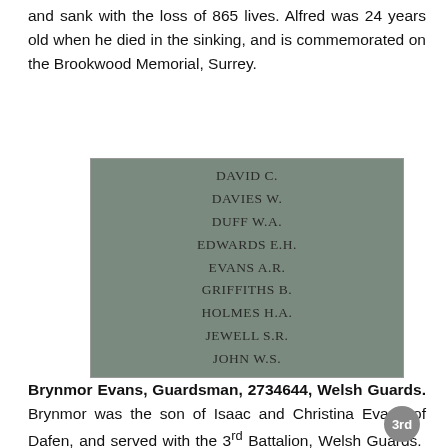and sank with the loss of 865 lives. Alfred was 24 years old when he died in the sinking, and is commemorated on the Brookwood Memorial, Surrey.
[Figure (photo): A photograph of a stone memorial panel with engraved names including DAVID C., DAVIES W., DUFF W.A., EDWARDS E.H., EVANS A.R., GRIFFITHS B., HOLMES H.A., JEWELL S.R., JOHN W.S.]
Brynmor Evans, Guardsman, 2734644, Welsh Guards. Brynmor was the son of Isaac and Christina Evans of Dafen, and served with the 3rd Battalion, Welsh Guards. The battalion formed in